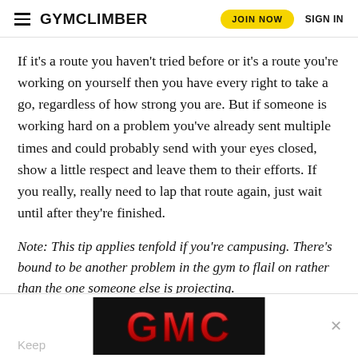GYMCLIMBER | JOIN NOW | SIGN IN
If it’s a route you haven’t tried before or it’s a route you’re working on yourself then you have every right to take a go, regardless of how strong you are. But if someone is working hard on a problem you’ve already sent multiple times and could probably send with your eyes closed, show a little respect and leave them to their efforts. If you really, really need to lap that route again, just wait until after they’re finished.
Note: This tip applies tenfold if you’re campusing. There’s bound to be another problem in the gym to flail on rather than the one someone else is projecting.
[Figure (logo): GMC logo in red metallic letters on black background]
Keep